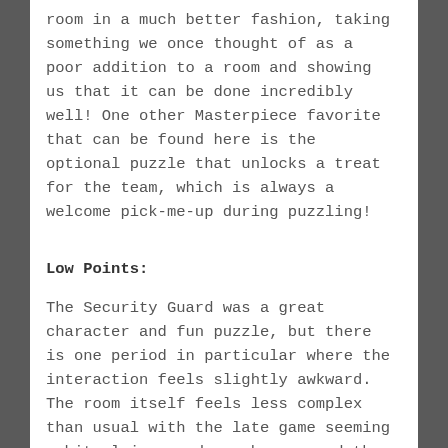room in a much better fashion, taking something we once thought of as a poor addition to a room and showing us that it can be done incredibly well! One other Masterpiece favorite that can be found here is the optional puzzle that unlocks a treat for the team, which is always a welcome pick-me-up during puzzling!
Low Points:
The Security Guard was a great character and fun puzzle, but there is one period in particular where the interaction feels slightly awkward. The room itself feels less complex than usual with the late game seeming a bit plainer and rougher around the edges.